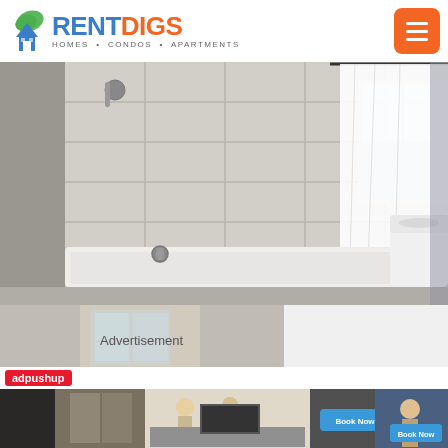RENTDIGS — HOMES · CONDOS · APARTMENTS
[Figure (photo): Bathroom interior with tiled bathtub surround, shower head, white shower curtain, and window. Toilet visible on right side.]
[Figure (photo): Partial second photo of what appears to be a room interior with natural light from a window.]
Advertisement
[Figure (other): adpushup advertisement banner showing people in a kitchen with a 'Book Now' button]